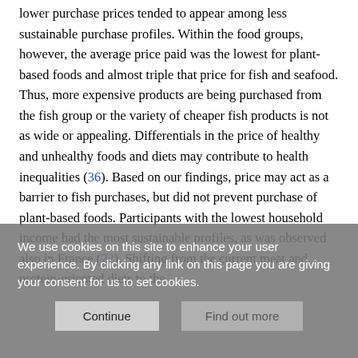lower purchase prices tended to appear among less sustainable purchase profiles. Within the food groups, however, the average price paid was the lowest for plant-based foods and almost triple that price for fish and seafood. Thus, more expensive products are being purchased from the fish group or the variety of cheaper fish products is not as wide or appealing. Differentials in the price of healthy and unhealthy foods and diets may contribute to health inequalities (36). Based on our findings, price may act as a barrier to fish purchases, but did not prevent purchase of plant-based foods. Participants with the lowest household income had the most sustainable profiles, as was observed also in France (22). Shifting from the current meat and protein-oriented diets to the
We use cookies on this site to enhance your user experience. By clicking any link on this page you are giving your consent for us to set cookies.
Continue | Find out more